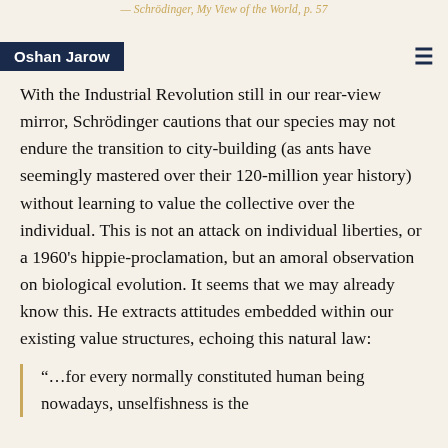— Schrödinger, My View of the World, p. 57
Oshan Jarow
With the Industrial Revolution still in our rear-view mirror, Schrödinger cautions that our species may not endure the transition to city-building (as ants have seemingly mastered over their 120-million year history) without learning to value the collective over the individual. This is not an attack on individual liberties, or a 1960's hippie-proclamation, but an amoral observation on biological evolution. It seems that we may already know this. He extracts attitudes embedded within our existing value structures, echoing this natural law:
“…for every normally constituted human being nowadays, unselfishness is the